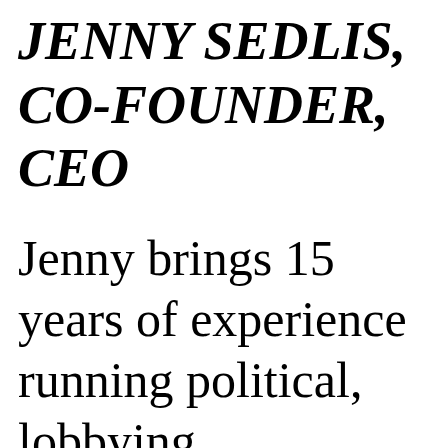JENNY SEDLIS, CO-FOUNDER, CEO
Jenny brings 15 years of experience running political, lobbying, grassroots,